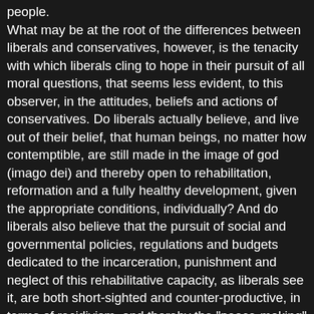people. What may be at the root of the differences between liberals and conservatives, however, is the tenacity with which liberals cling to hope in their pursuit of all moral questions, that seems less evident, to this observer, in the attitudes, beliefs and actions of conservatives. Do liberals actually believe, and live out of their belief, that human beings, no matter how contemptible, are still made in the image of god (imago dei) and thereby open to rehabilitation, reformation and a fully healthy development, given the appropriate conditions, individually? And do liberals also believe that the pursuit of social and governmental policies, regulations and budgets dedicated to the incarceration, punishment and neglect of this rehabilitative capacity, as liberals see it, are both short-sighted and counter-productive, in terms of recidivism, and thereby the "peace-making" within the society, in order to placate this "retributive" component of what Haidt calls the moral compass of human nature? And while conservatives, analogous to the elephant in the above analogy, with liberals being the tiny, almost insignificant rider, plunder their way through the jungle, never forgetting an offence or an unmet punishment for